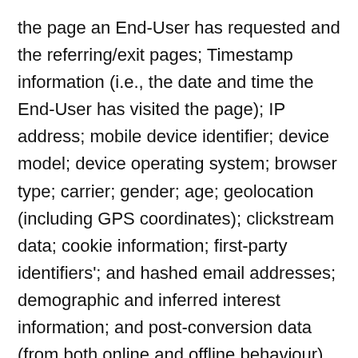the page an End-User has requested and the referring/exit pages; Timestamp information (i.e., the date and time the End-User has visited the page); IP address; mobile device identifier; device model; device operating system; browser type; carrier; gender; age; geolocation (including GPS coordinates); clickstream data; cookie information; first-party identifiers'; and hashed email addresses; demographic and inferred interest information; and post-conversion data (from both online and offline behaviour). Some of this data is gathered from this website and others is gathered from advertisers. MediaGrid uses this data to provide its services. You may also utilize the Network Advertising Initiative's opt-out page